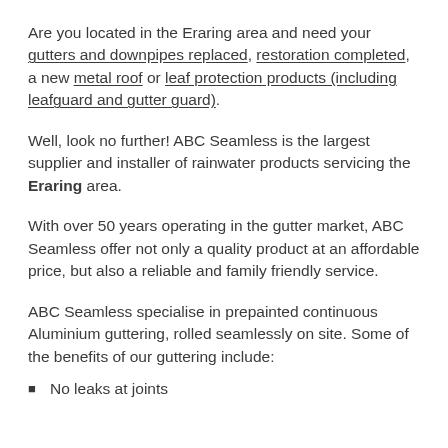Are you located in the Eraring area and need your gutters and downpipes replaced, restoration completed, a new metal roof or leaf protection products (including leafguard and gutter guard).
Well, look no further! ABC Seamless is the largest supplier and installer of rainwater products servicing the Eraring area.
With over 50 years operating in the gutter market, ABC Seamless offer not only a quality product at an affordable price, but also a reliable and family friendly service.
ABC Seamless specialise in prepainted continuous Aluminium guttering, rolled seamlessly on site. Some of the benefits of our guttering include:
No leaks at joints